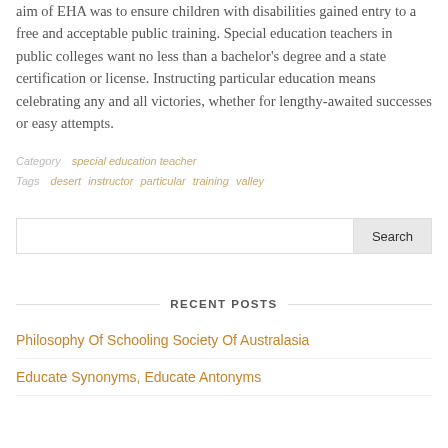aim of EHA was to ensure children with disabilities gained entry to a free and acceptable public training. Special education teachers in public colleges want no less than a bachelor's degree and a state certification or license. Instructing particular education means celebrating any and all victories, whether for lengthy-awaited successes or easy attempts.
Category   special education teacher
Tags   desert   instructor   particular   training   valley
Search
RECENT POSTS
Philosophy Of Schooling Society Of Australasia
Educate Synonyms, Educate Antonyms